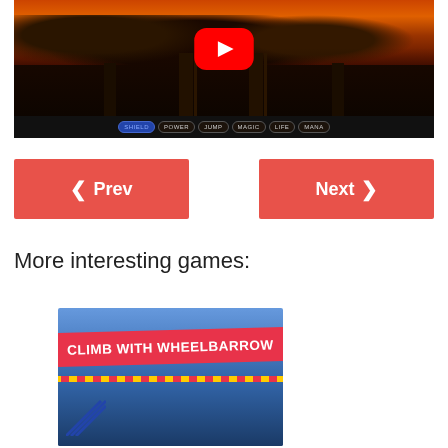[Figure (screenshot): YouTube video thumbnail showing a dark gothic video game scene with red/orange sky, dark columns, and a YouTube play button overlay. HUD bar at bottom shows: SHIELD, POWER, JUMP, MAGIC, LIFE, MANA]
< Prev
Next >
More interesting games:
[Figure (screenshot): Game thumbnail showing blue background with pink/red banner reading CLIMB WITH WHEELBARROW in white bold text, with yellow/red striped border below the banner]